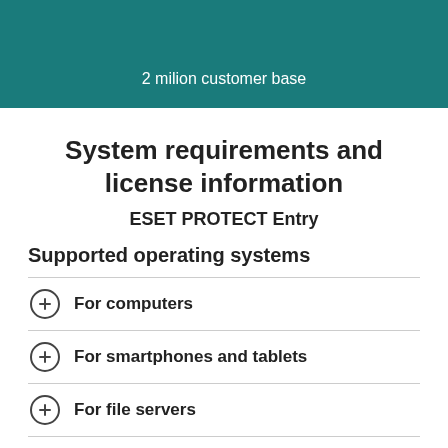2 milion customer base
System requirements and license information
ESET PROTECT Entry
Supported operating systems
For computers
For smartphones and tablets
For file servers